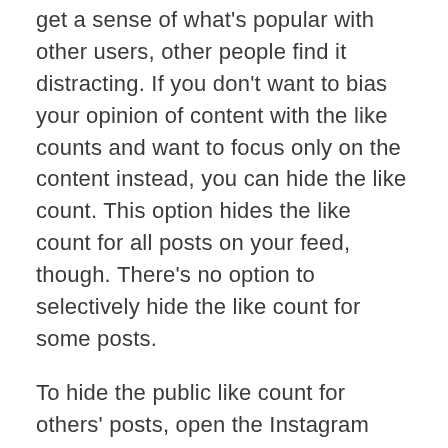get a sense of what's popular with other users, other people find it distracting. If you don't want to bias your opinion of content with the like counts and want to focus only on the content instead, you can hide the like count. This option hides the like count for all posts on your feed, though. There's no option to selectively hide the like count for some posts.
To hide the public like count for others' posts, open the Instagram app and go to the 'Profile' tab from the navigation bar at the bottom of the screen.